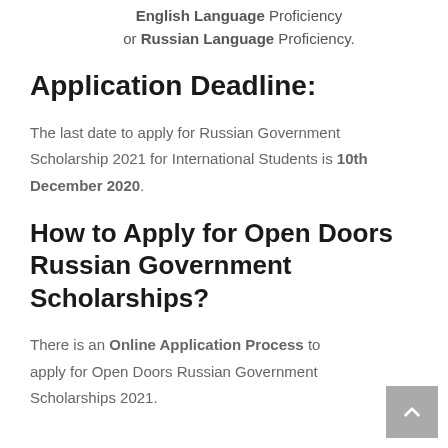English Language Proficiency or Russian Language Proficiency.
Application Deadline:
The last date to apply for Russian Government Scholarship 2021 for International Students is 10th December 2020.
How to Apply for Open Doors Russian Government Scholarships?
There is an Online Application Process to apply for Open Doors Russian Government Scholarships 2021.